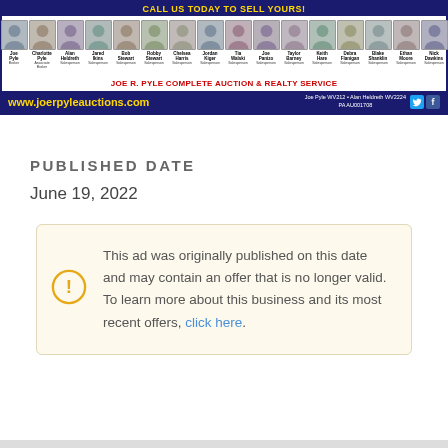[Figure (illustration): Joe R. Pyle Complete Auction & Realty Service advertisement banner showing headshots of multiple agents, company name, website www.joerpyleauctions.com, license numbers Joe Pyle WV212, Alan Heldreth WV2224, PA AU001708, and social media icons.]
PUBLISHED DATE
June 19, 2022
This ad was originally published on this date and may contain an offer that is no longer valid. To learn more about this business and its most recent offers, click here.